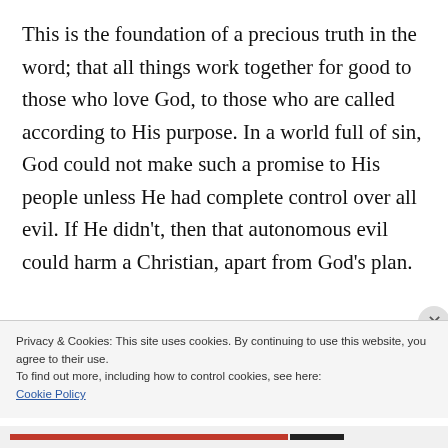This is the foundation of a precious truth in the word; that all things work together for good to those who love God, to those who are called according to His purpose. In a world full of sin, God could not make such a promise to His people unless He had complete control over all evil. If He didn't, then that autonomous evil could harm a Christian, apart from God's plan.
This view does not make God the master
Privacy & Cookies: This site uses cookies. By continuing to use this website, you agree to their use.
To find out more, including how to control cookies, see here:
Cookie Policy
Close and accept